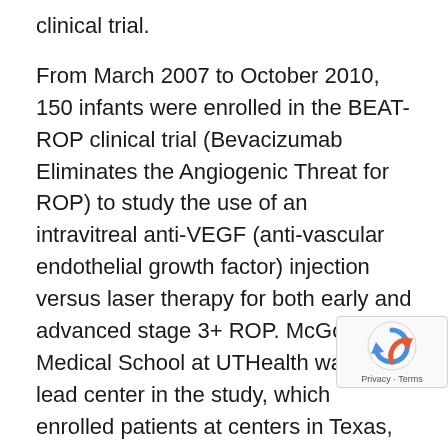clinical trial.
From March 2007 to October 2010, 150 infants were enrolled in the BEAT-ROP clinical trial (Bevacizumab Eliminates the Angiogenic Threat for ROP) to study the use of an intravitreal anti-VEGF (anti-vascular endothelial growth factor) injection versus laser therapy for both early and advanced stage 3+ ROP. McGovern Medical School at UTHealth was the lead center in the study, which enrolled patients at centers in Texas, California, Colorado, Illinois and South Carolina. Infants with zone I or posterior zone II ROP were randomly assi[gned] to receive either intravitreal bevacizuma[b] (Avastin®) or conventional laser therapy in both